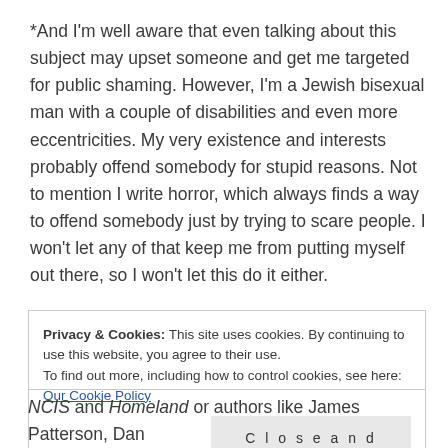*And I'm well aware that even talking about this subject may upset someone and get me targeted for public shaming. However, I'm a Jewish bisexual man with a couple of disabilities and even more eccentricities. My very existence and interests probably offend somebody for stupid reasons. Not to mention I write horror, which always finds a way to offend somebody just by trying to scare people. I won't let any of that keep me from putting myself out there, so I won't let this do it either.
Privacy & Cookies: This site uses cookies. By continuing to use this website, you agree to their use. To find out more, including how to control cookies, see here: Our Cookie Policy
NCIS and Homeland or authors like James Patterson, Dan